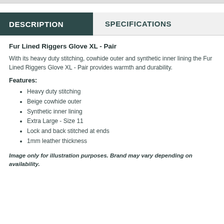DESCRIPTION | SPECIFICATIONS
Fur Lined Riggers Glove XL - Pair
With its heavy duty stitching, cowhide outer and synthetic inner lining the Fur Lined Riggers Glove XL - Pair provides warmth and durability.
Features:
Heavy duty stitching
Beige cowhide outer
Synthetic inner lining
Extra Large - Size 11
Lock and back stitched at ends
1mm leather thickness
Image only for illustration purposes. Brand may vary depending on availability.